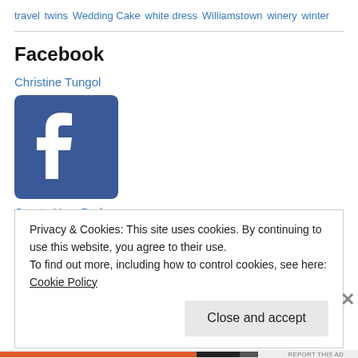travel  twins  Wedding Cake  white dress  Williamstown  winery  winter
Facebook
Christine Tungol
[Figure (logo): Facebook logo — blue square with white lowercase f lettermark]
Create Your Badge
Privacy & Cookies: This site uses cookies. By continuing to use this website, you agree to their use.
To find out more, including how to control cookies, see here: Cookie Policy
Close and accept